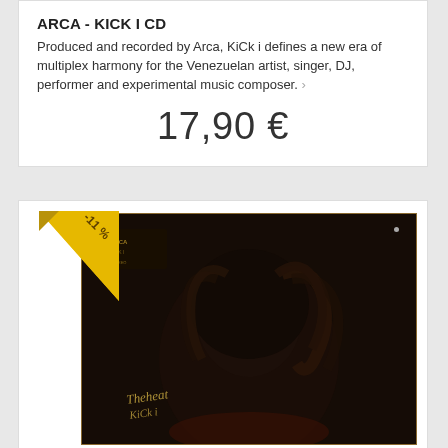ARCA - KICK I CD
Produced and recorded by Arca, KiCk i defines a new era of multiplex harmony for the Venezuelan artist, singer, DJ, performer and experimental music composer.
17,90 €
[Figure (photo): Album cover for ARCA KICK I CD showing the back of a person's head with dreadlocks against a dark background, with a golden border and stylized text/logo in the lower left corner. A yellow diagonal discount ribbon showing -11% is in the top left corner.]
KATSO